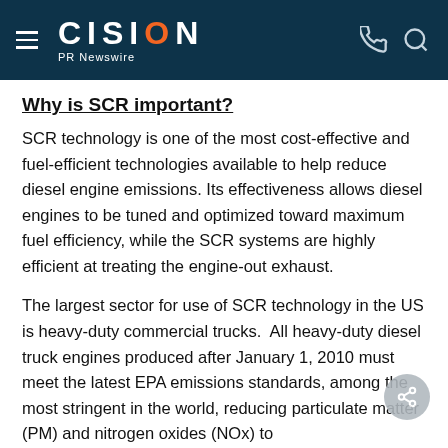CISION PR Newswire
Why is SCR important?
SCR technology is one of the most cost-effective and fuel-efficient technologies available to help reduce diesel engine emissions. Its effectiveness allows diesel engines to be tuned and optimized toward maximum fuel efficiency, while the SCR systems are highly efficient at treating the engine-out exhaust.
The largest sector for use of SCR technology in the US is heavy-duty commercial trucks.  All heavy-duty diesel truck engines produced after January 1, 2010 must meet the latest EPA emissions standards, among the most stringent in the world, reducing particulate matter (PM) and nitrogen oxides (NOx) to